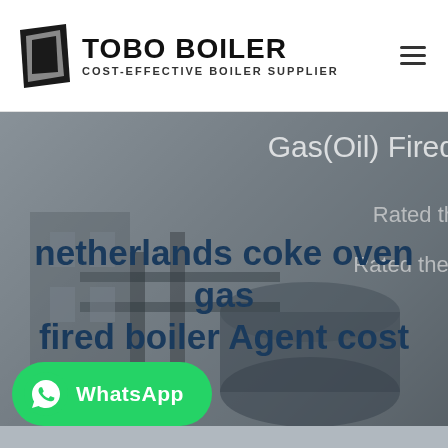[Figure (logo): Tobo Boiler logo with black geometric icon and bold text 'TOBO BOILER' with subtitle 'COST-EFFECTIVE BOILER SUPPLIER']
[Figure (photo): Industrial boiler facility background photo with grey overlay, partially visible text 'Gas(Oil) Fired', 'Rated th...', 'Rated ther...' on the right side]
netherlands coke oven gas fired boiler Agent cost
[Figure (other): WhatsApp button with green background, WhatsApp icon and 'WhatsApp' label]